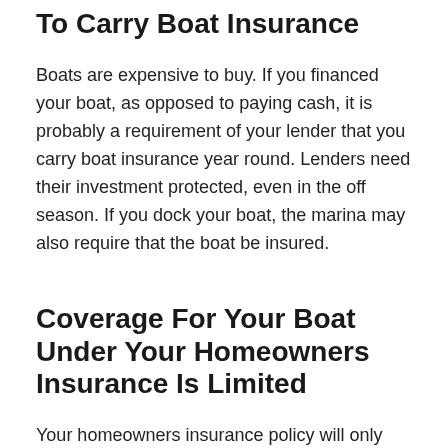To Carry Boat Insurance
Boats are expensive to buy. If you financed your boat, as opposed to paying cash, it is probably a requirement of your lender that you carry boat insurance year round. Lenders need their investment protected, even in the off season. If you dock your boat, the marina may also require that the boat be insured.
Coverage For Your Boat Under Your Homeowners Insurance Is Limited
Your homeowners insurance policy will only cover damage to your boat that occurs while the boat is